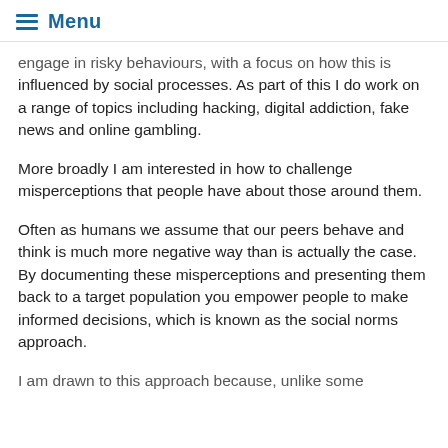Menu
engage in risky behaviours, with a focus on how this is influenced by social processes. As part of this I do work on a range of topics including hacking, digital addiction, fake news and online gambling.
More broadly I am interested in how to challenge misperceptions that people have about those around them.
Often as humans we assume that our peers behave and think is much more negative way than is actually the case. By documenting these misperceptions and presenting them back to a target population you empower people to make informed decisions, which is known as the social norms approach.
I am drawn to this approach because, unlike some...